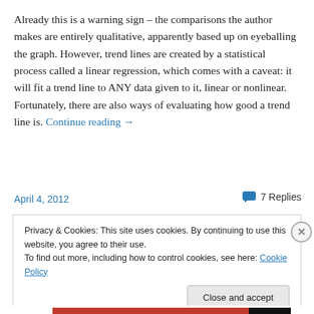Already this is a warning sign – the comparisons the author makes are entirely qualitative, apparently based up on eyeballing the graph. However, trend lines are created by a statistical process called a linear regression, which comes with a caveat: it will fit a trend line to ANY data given to it, linear or nonlinear. Fortunately, there are also ways of evaluating how good a trend line is. Continue reading →
April 4, 2012
7 Replies
Privacy & Cookies: This site uses cookies. By continuing to use this website, you agree to their use.
To find out more, including how to control cookies, see here: Cookie Policy
Close and accept